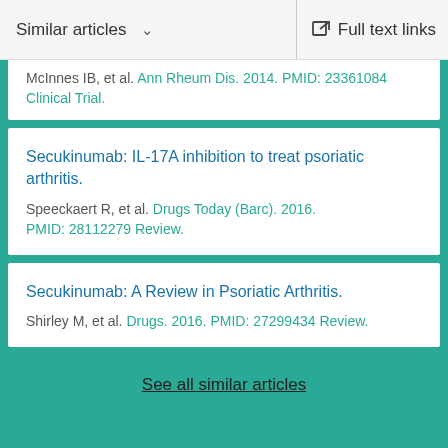Similar articles   Full text links
McInnes IB, et al. Ann Rheum Dis. 2014. PMID: 23361084 Clinical Trial.
Secukinumab: IL-17A inhibition to treat psoriatic arthritis.
Speeckaert R, et al. Drugs Today (Barc). 2016. PMID: 28112279 Review.
Secukinumab: A Review in Psoriatic Arthritis.
Shirley M, et al. Drugs. 2016. PMID: 27299434 Review.
See all similar articles